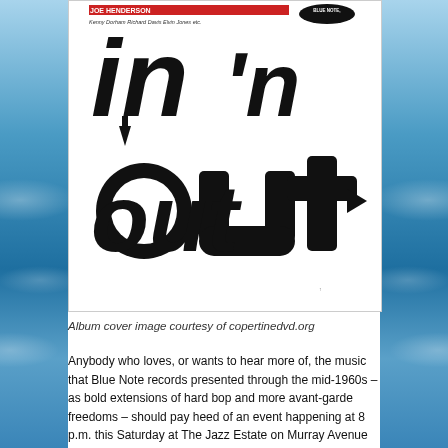[Figure (illustration): Album cover for Joe Henderson 'In 'n Out' on Blue Note records. Features large stylized black letters spelling 'in' and 'out' with arrows, on white background. Top text reads 'Kenny Dorham Richard Davis Elvin Jones etc.' and Blue Note label oval logo.]
Album cover image courtesy of copertinedvd.org
Anybody who loves, or wants to hear more of, the music that Blue Note records presented through the mid-1960s – as bold extensions of hard bop and more avant-garde freedoms – should pay heed of an event happening at 8 p.m. this Saturday at The Jazz Estate on Murray Avenue